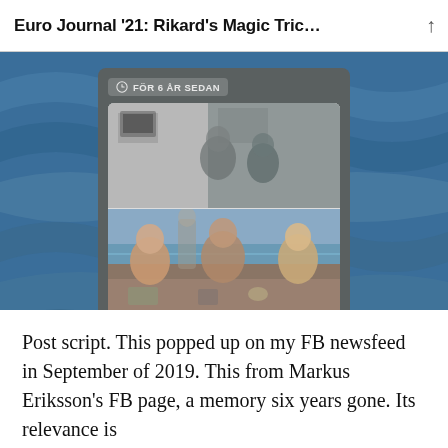Euro Journal '21: Rikard's Magic Tric…
[Figure (screenshot): A Facebook memory card with label 'FÖR 6 ÅR SEDAN' (6 years ago). Contains two stacked photos: top photo shows people in what appears to be an indoor setting; bottom photo shows three men seated outdoors at a table, with a bridge or waterway visible in the background. Below the photos is a caption text.]
Thanks for a great weekend at Euromilitaire in Folkstone. This modelling show never disapoints you. Thanks to all old friends and...
Post script. This popped up on my FB newsfeed in September of 2019. This from Markus Eriksson's FB page, a memory six years gone. Its relevance is